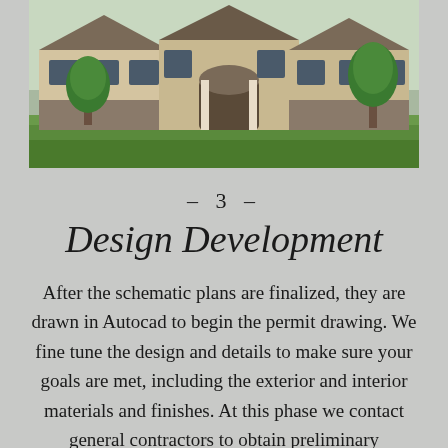[Figure (photo): Exterior rendering of a residential home with stone and stucco facade, arched entryway, multiple windows, trees and landscaping in front]
– 3 –
Design Development
After the schematic plans are finalized, they are drawn in Autocad to begin the permit drawing. We fine tune the design and details to make sure your goals are met, including the exterior and interior materials and finishes. At this phase we contact general contractors to obtain preliminary construction estimates, making sure we are on track with your budget before the drawings